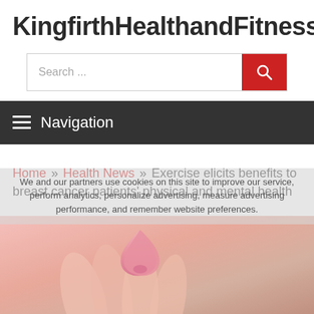KingfirthHealthandFitness
[Figure (screenshot): Search bar with text 'Search ...' and a red search button with magnifying glass icon]
Navigation
Home » Health News » Exercise elicits benefits to breast cancer patients' physical and mental health
We and our partners use cookies on this site to improve our service, perform analytics, personalize advertising, measure advertising performance, and remember website preferences.
[Figure (photo): Photo of hands holding a pink ribbon, representing breast cancer awareness]